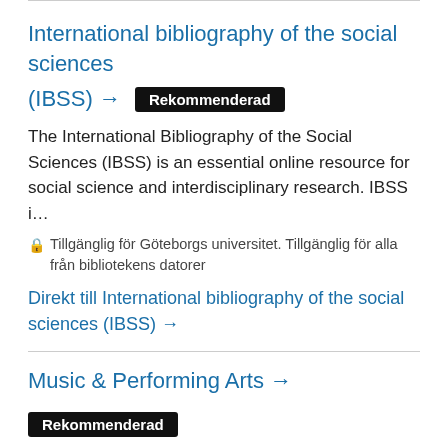International bibliography of the social sciences (IBSS) → Rekommenderad
The International Bibliography of the Social Sciences (IBSS) is an essential online resource for social science and interdisciplinary research. IBSS i…
🔒 Tillgänglig för Göteborgs universitet. Tillgänglig för alla från bibliotekens datorer
Direkt till International bibliography of the social sciences (IBSS) →
Music & Performing Arts → Rekommenderad
Music & Performing Arts is a cross-searchable portal of audio, video, scores and full-text music reference collections from Alexander Street Press.